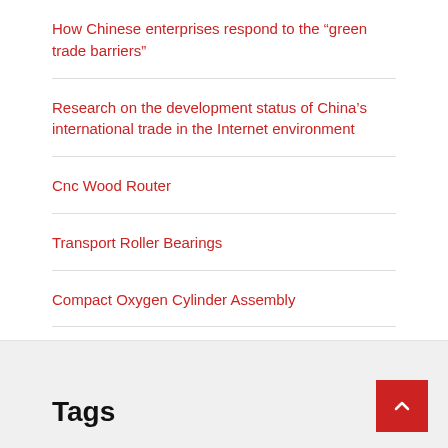How Chinese enterprises respond to the “green trade barriers”
Research on the development status of China’s international trade in the Internet environment
Cnc Wood Router
Transport Roller Bearings
Compact Oxygen Cylinder Assembly
Tags